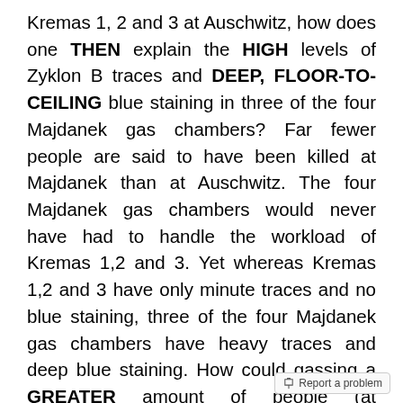Kremas 1, 2 and 3 at Auschwitz, how does one THEN explain the HIGH levels of Zyklon B traces and DEEP, FLOOR-TO-CEILING blue staining in three of the four Majdanek gas chambers? Far fewer people are said to have been killed at Majdanek than at Auschwitz. The four Majdanek gas chambers would never have had to handle the workload of Kremas 1,2 and 3. Yet whereas Kremas 1,2 and 3 have only minute traces and no blue staining, three of the four Majdanek gas chambers have heavy traces and deep blue staining. How could gassing a GREATER amount of people (at Auschwitz) leave minute traces and no blue staining, yet gassing a much SMALLER amount (at Majdanek) leave heavy traces and deep blue staining?